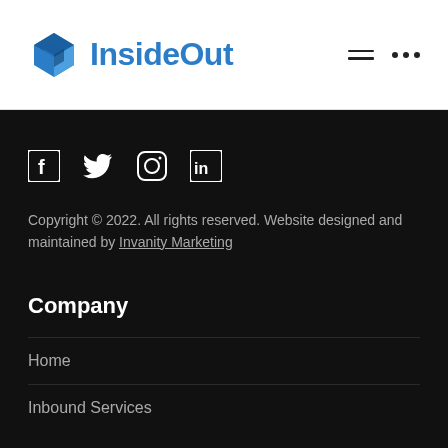InsideOut
[Figure (logo): InsideOut company logo with blue cube icon and text]
[Figure (illustration): Social media icons: Facebook, Twitter, Instagram, LinkedIn]
Copyright © 2022. All rights reserved. Website designed and maintained by Invanity Marketing
Company
Home
Inbound Services